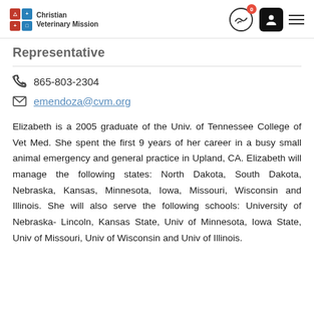Christian Veterinary Mission
Representative
865-803-2304
emendoza@cvm.org
Elizabeth is a 2005 graduate of the Univ. of Tennessee College of Vet Med. She spent the first 9 years of her career in a busy small animal emergency and general practice in Upland, CA. Elizabeth will manage the following states: North Dakota, South Dakota, Nebraska, Kansas, Minnesota, Iowa, Missouri, Wisconsin and Illinois. She will also serve the following schools: University of Nebraska- Lincoln, Kansas State, Univ of Minnesota, Iowa State, Univ of Missouri, Univ of Wisconsin and Univ of Illinois.